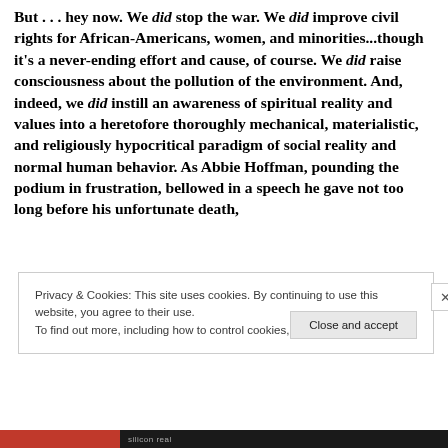But . . . hey now. We did stop the war. We did improve civil rights for African-Americans, women, and minorities...though it's a never-ending effort and cause, of course. We did raise consciousness about the pollution of the environment. And, indeed, we did instill an awareness of spiritual reality and values into a heretofore thoroughly mechanical, materialistic, and religiously hypocritical paradigm of social reality and normal human behavior. As Abbie Hoffman, pounding the podium in frustration, bellowed in a speech he gave not too long before his unfortunate death,
Privacy & Cookies: This site uses cookies. By continuing to use this website, you agree to their use.
To find out more, including how to control cookies, see here: Cookie Policy